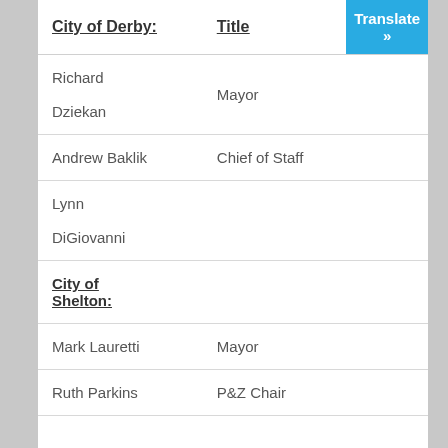| City of Derby: | Title | Translate » |
| --- | --- | --- |
| Richard
Dziekan | Mayor |  |
| Andrew Baklik | Chief of Staff |  |
| Lynn
DiGiovanni |  |  |
| City of
Shelton: |  |  |
| Mark Lauretti | Mayor |  |
| Ruth Parkins | P&Z Chair |  |